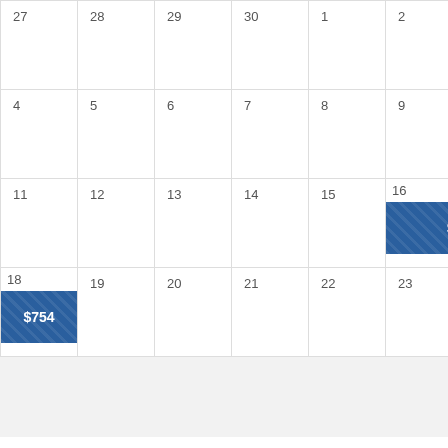[Figure (other): Partial flight price calendar grid showing dates 27-24 across multiple weeks, with $754 price badges highlighted on dates 16-17 and 18]
Connecting Flights vs Direct Flights from Manchester,